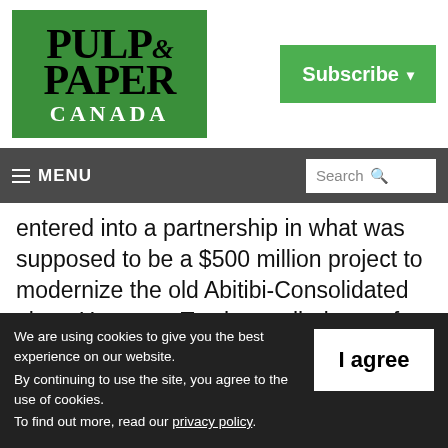[Figure (logo): Pulp & Paper Canada logo on green background]
Subscribe ▾
≡ MENU   Search 🔍
entered into a partnership in what was supposed to be a $500 million project to modernize the old Abitibi-Consolidated plant. However, Tembec pulled out, after the price tag surpassed $800 million. The
We are using cookies to give you the best experience on our website.
By continuing to use the site, you agree to the use of cookies.
To find out more, read our privacy policy.
I agree